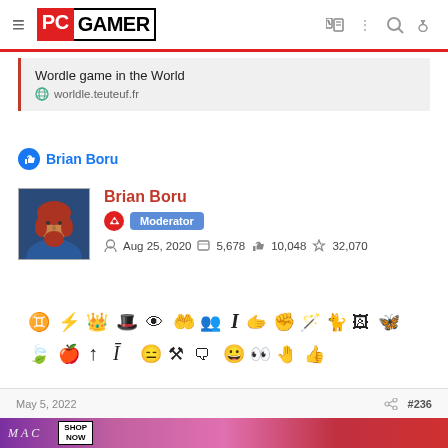PC GAMER
Wordle game in the World
worldle.teuteuf.fr
Brian Boru
Brian Boru
Moderator
Aug 25, 2020   5,678   10,048   32,070
[Figure (illustration): Achievements/badge icons row - small black pictographic icons]
May 5, 2022   #236
[Figure (photo): MAC cosmetics advertisement banner with lipsticks - SHOP NOW]